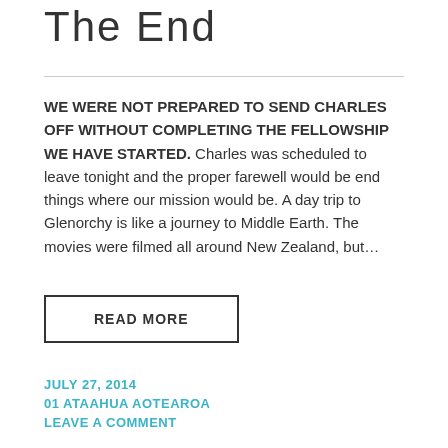The End
WE WERE NOT PREPARED TO SEND CHARLES OFF WITHOUT COMPLETING THE FELLOWSHIP WE HAVE STARTED. Charles was scheduled to leave tonight and the proper farewell would be end things where our mission would be. A day trip to Glenorchy is like a journey to Middle Earth. The movies were filmed all around New Zealand, but…
READ MORE
JULY 27, 2014
01 ATAAHUA AOTEAROA
LEAVE A COMMENT